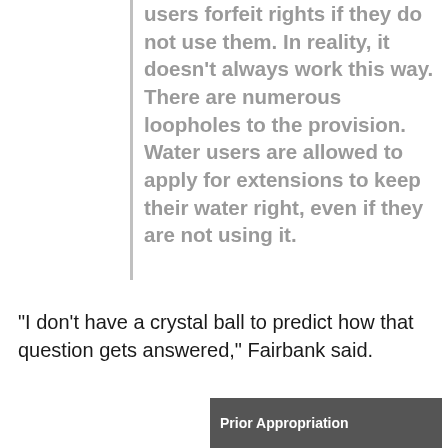users forfeit rights if they do not use them. In reality, it doesn't always work this way. There are numerous loopholes to the provision. Water users are allowed to apply for extensions to keep their water right, even if they are not using it.
“I don’t have a crystal ball to predict how that question gets answered,” Fairbank said.
[Figure (other): Dark gray banner/box with white bold text 'Prior Appropriation']